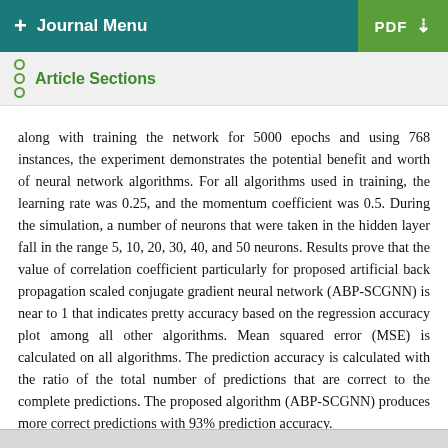+ Journal Menu   PDF ↓
Article Sections
along with training the network for 5000 epochs and using 768 instances, the experiment demonstrates the potential benefit and worth of neural network algorithms. For all algorithms used in training, the learning rate was 0.25, and the momentum coefficient was 0.5. During the simulation, a number of neurons that were taken in the hidden layer fall in the range 5, 10, 20, 30, 40, and 50 neurons. Results prove that the value of correlation coefficient particularly for proposed artificial back propagation scaled conjugate gradient neural network (ABP-SCGNN) is near to 1 that indicates pretty accuracy based on the regression accuracy plot among all other algorithms. Mean squared error (MSE) is calculated on all algorithms. The prediction accuracy is calculated with the ratio of the total number of predictions that are correct to the complete predictions. The proposed algorithm (ABP-SCGNN) produces more correct predictions with 93% prediction accuracy.